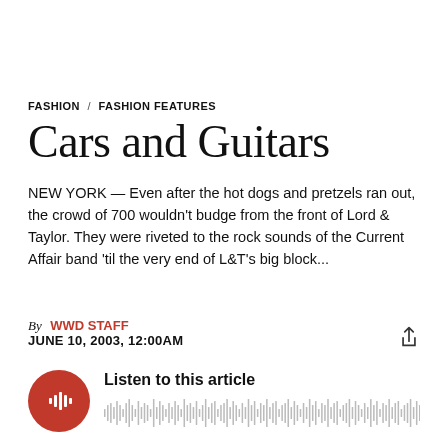FASHION / FASHION FEATURES
Cars and Guitars
NEW YORK — Even after the hot dogs and pretzels ran out, the crowd of 700 wouldn't budge from the front of Lord & Taylor. They were riveted to the rock sounds of the Current Affair band 'til the very end of L&T's big block...
By WWD STAFF
JUNE 10, 2003, 12:00AM
[Figure (infographic): Audio player widget with red circular play button showing sound wave icon, text 'Listen to this article', and an audio waveform bar below]